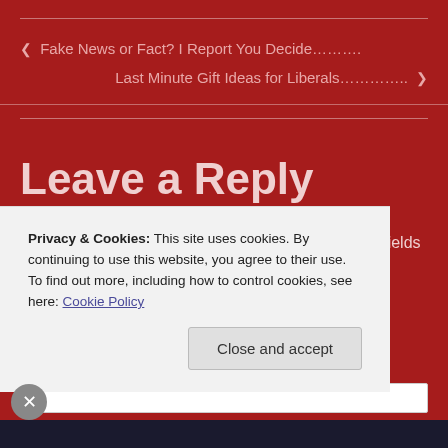‹ Fake News or Fact? I Report You Decide……….
Last Minute Gift Ideas for Liberals………….. ›
Leave a Reply
Your email address will not be published. Required fields are marked *
Comment *
Privacy & Cookies: This site uses cookies. By continuing to use this website, you agree to their use.
To find out more, including how to control cookies, see here: Cookie Policy
Close and accept